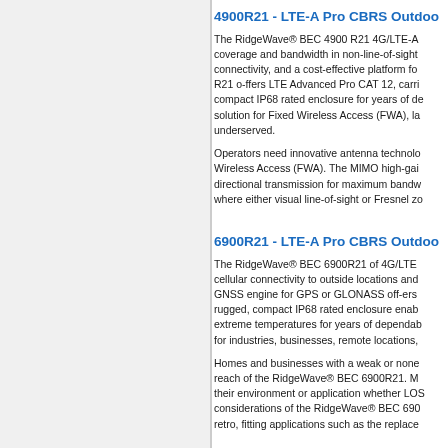4900R21 - LTE-A Pro CBRS Outdoor...
The RidgeWave® BEC 4900 R21 4G/LTE-A... coverage and bandwidth in non-line-of-sight... connectivity, and a cost-effective platform fo... R21 o-ffers LTE Advanced Pro CAT 12, carri... compact IP68 rated enclosure for years of de... solution for Fixed Wireless Access (FWA), la... underserved.
Operators need innovative antenna technolo... Wireless Access (FWA). The MIMO high-gai... directional transmission for maximum bandw... where either visual line-of-sight or Fresnel zo...
6900R21 - LTE-A Pro CBRS Outdoor...
The RidgeWave® BEC 6900R21 of 4G/LTE... cellular connectivity to outside locations and... GNSS engine for GPS or GLONASS off-ers... rugged, compact IP68 rated enclosure enab... extreme temperatures for years of dependab... for industries, businesses, remote locations,...
Homes and businesses with a weak or none... reach of the RidgeWave® BEC 6900R21. M... their environment or application whether LOS... considerations of the RidgeWave® BEC 690... retro, fitting applications such as the replace...